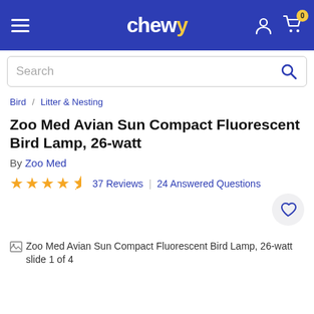chewy — navigation header with hamburger menu, logo, user icon, cart icon (0)
Search
Bird / Litter & Nesting
Zoo Med Avian Sun Compact Fluorescent Bird Lamp, 26-watt
By Zoo Med
★★★★½  37 Reviews  24 Answered Questions
[Figure (photo): Wishlist heart icon button (circular gray background)]
[Figure (photo): Broken image placeholder: Zoo Med Avian Sun Compact Fluorescent Bird Lamp, 26-watt slide 1 of 4]